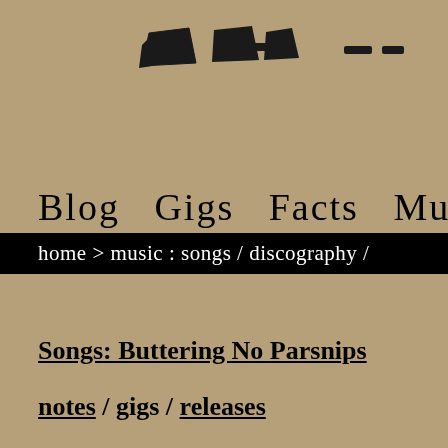[Figure (logo): Partial logo with stylized letter/icon shapes in dark color on tan background, top portion cropped]
Blog  Gigs  Facts  Music  Shop
home > music : songs / discography /
Songs: Buttering No Parsnips
notes / gigs / releases